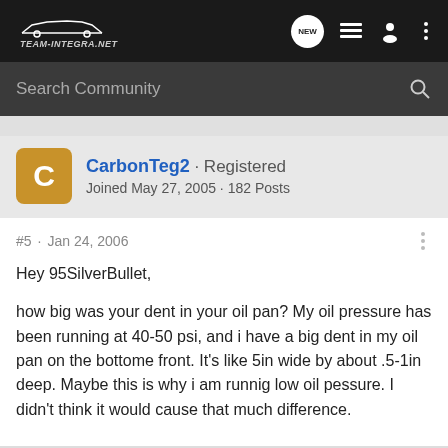Team-Integra.net
Search Community
[Figure (screenshot): User avatar: golden/amber square with letter C]
CarbonTeg2 · Registered
Joined May 27, 2005 · 182 Posts
#5 · Jan 24, 2006
Hey 95SilverBullet,

how big was your dent in your oil pan? My oil pressure has been running at 40-50 psi, and i have a big dent in my oil pan on the bottome front. It's like 5in wide by about .5-1in deep. Maybe this is why i am runnig low oil pessure. I didn't think it would cause that much difference.